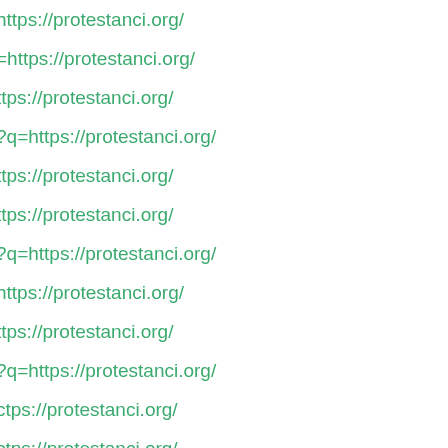https://protestanci.org/
=https://protestanci.org/
ttps://protestanci.org/
?q=https://protestanci.org/
ttps://protestanci.org/
ttps://protestanci.org/
?q=https://protestanci.org/
https://protestanci.org/
ttps://protestanci.org/
?q=https://protestanci.org/
ctps://protestanci.org/
ctps://protestanci.org/